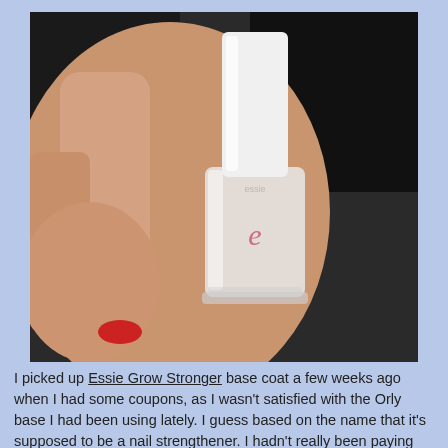[Figure (photo): A hand holding a small clear bottle of Essie Grow Stronger base coat nail polish with a white cap and a pink circular 'e' logo on the label, against a dark background.]
I picked up Essie Grow Stronger base coat a few weeks ago when I had some coupons, as I wasn't satisfied with the Orly base I had been using lately. I guess based on the name that it's supposed to be a nail strengthener. I hadn't really been paying too close attention to that aspect of it, but now that I